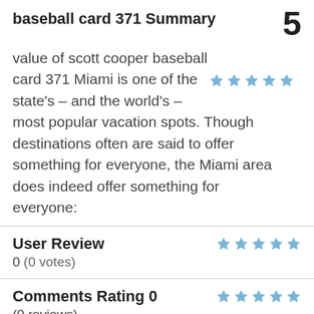baseball card 371 Summary  5
value of scott cooper baseball card 371 Miami is one of the state's – and the world's – most popular vacation spots. Though destinations often are said to offer something for everyone, the Miami area does indeed offer something for everyone:
User Review
0 (0 votes)
Comments Rating 0
(0 reviews)